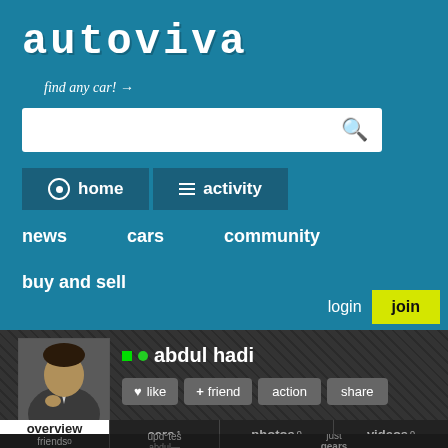[Figure (screenshot): Autoviva website header with logo, search bar, navigation tabs (home, activity), menu links (news, cars, community, buy and sell), login and join buttons]
autoviva
find any car! →
home   activity
news   cars   community
buy and sell
login
join
• abdul hadi
♥ like   + friend   action   share
overview all   cars 1   photos 0   videos 0
friends 0   updates   just   gears   abdul—